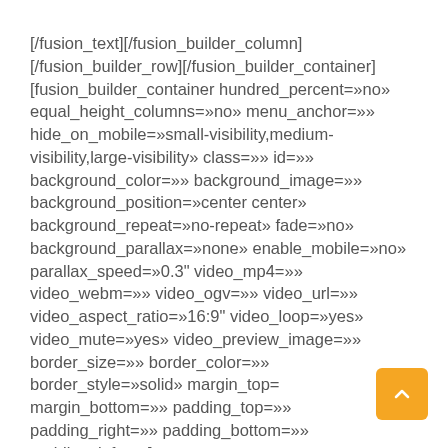[/fusion_text][/fusion_builder_column] [/fusion_builder_row][/fusion_builder_container] [fusion_builder_container hundred_percent=»no» equal_height_columns=»no» menu_anchor=»» hide_on_mobile=»small-visibility,medium-visibility,large-visibility» class=»» id=»» background_color=»» background_image=»» background_position=»center center» background_repeat=»no-repeat» fade=»no» background_parallax=»none» enable_mobile=»no» parallax_speed=»0.3" video_mp4=»» video_webm=»» video_ogv=»» video_url=»» video_aspect_ratio=»16:9" video_loop=»yes» video_mute=»yes» video_preview_image=»» border_size=»» border_color=»» border_style=»solid» margin_top= margin_bottom=»» padding_top=»» padding_right=»» padding_bottom=»» padding_left=»»]